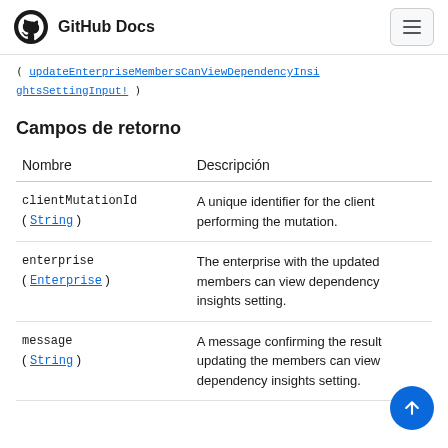GitHub Docs
( updateEnterpriseMembersCanViewDependencyInsightsSettingInput! )
Campos de retorno
| Nombre | Descripción |
| --- | --- |
| clientMutationId ( String ) | A unique identifier for the client performing the mutation. |
| enterprise ( Enterprise ) | The enterprise with the updated members can view dependency insights setting. |
| message ( String ) | A message confirming the result updating the members can view dependency insights setting. |